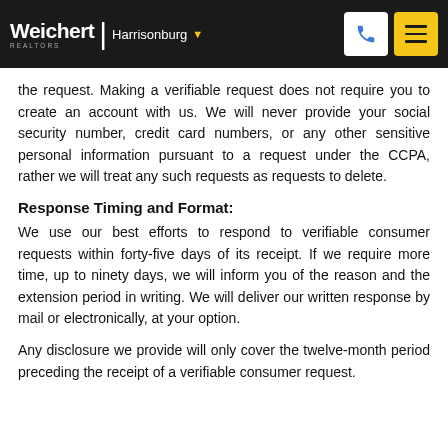Weichert | Harrisonburg
the request. Making a verifiable request does not require you to create an account with us. We will never provide your social security number, credit card numbers, or any other sensitive personal information pursuant to a request under the CCPA, rather we will treat any such requests as requests to delete.
Response Timing and Format:
We use our best efforts to respond to verifiable consumer requests within forty-five days of its receipt. If we require more time, up to ninety days, we will inform you of the reason and the extension period in writing. We will deliver our written response by mail or electronically, at your option.
Any disclosure we provide will only cover the twelve-month period preceding the receipt of a verifiable consumer request.